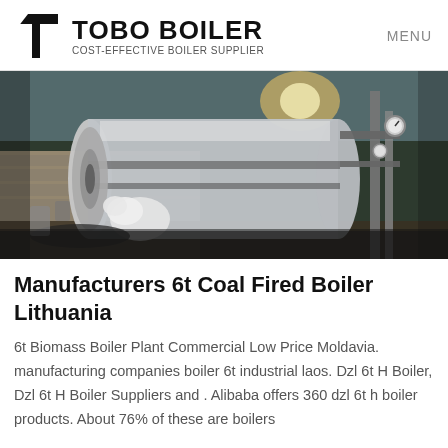TOBO BOILER — COST-EFFECTIVE BOILER SUPPLIER | MENU
[Figure (photo): Industrial boiler unit photographed outdoors, showing a large cylindrical horizontal steam boiler with pipes and gauges, with a worker in protective gear visible near the front.]
Manufacturers 6t Coal Fired Boiler Lithuania
6t Biomass Boiler Plant Commercial Low Price Moldavia. manufacturing companies boiler 6t industrial laos. Dzl 6t H Boiler, Dzl 6t H Boiler Suppliers and . Alibaba offers 360 dzl 6t h boiler products. About 76% of these are boilers